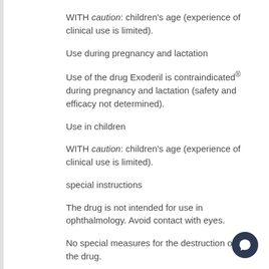WITH caution: children's age (experience of clinical use is limited).
Use during pregnancy and lactation
Use of the drug Exoderil is contraindicated® during pregnancy and lactation (safety and efficacy not determined).
Use in children
WITH caution: children's age (experience of clinical use is limited).
special instructions
The drug is not intended for use in ophthalmology. Avoid contact with eyes.
No special measures for the destruction of the drug.
Influence on ability to drive motor transport and